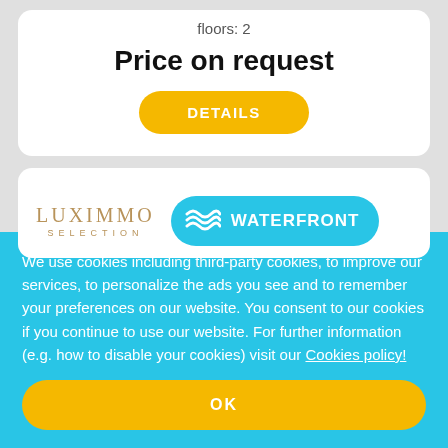floors: 2
Price on request
DETAILS
[Figure (logo): LUXIMMO SELECTION logo in gold/bronze serif font]
WATERFRONT
We use cookies including third-party cookies, to improve our services, to personalize the ads you see and to remember your preferences on our website. You consent to our cookies if you continue to use our website. For further information (e.g. how to disable your cookies) visit our Cookies policy!
OK